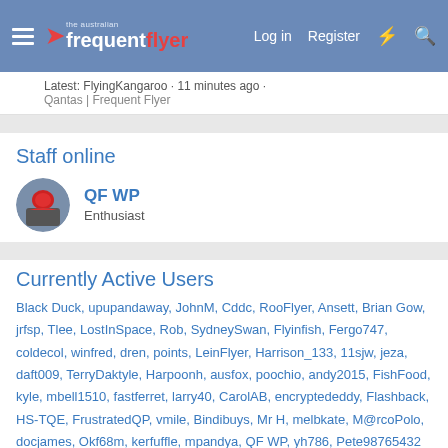the australian frequent flyer | Log in | Register
Latest: FlyingKangaroo · 11 minutes ago
Qantas | Frequent Flyer
Staff online
QF WP
Enthusiast
Currently Active Users
Black Duck, upupandaway, JohnM, Cddc, RooFlyer, Ansett, Brian Gow, jrfsp, Tlee, LostInSpace, Rob, SydneySwan, Flyinfish, Fergo747, coldecol, winfred, dren, points, LeinFlyer, Harrison_133, 11sjw, jeza, daft009, TerryDaktyle, Harpoonh, ausfox, poochio, andy2015, FishFood, kyle, mbell1510, fastferret, larry40, CarolAB, encryptededdy, Flashback, HS-TQE, FrustratedQP, vmile, Bindibuys, Mr H, melbkate, M@rcoPolo, docjames, Okf68m, kerfuffle, mpandya, QF WP, yh786, Pete98765432 ... and 37 more.
Total: 380 (members: 87, guests: 293)